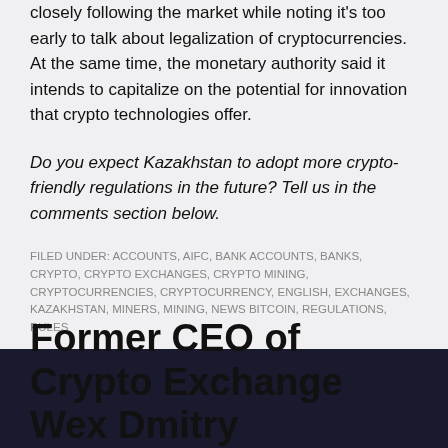closely following the market while noting it's too early to talk about legalization of cryptocurrencies. At the same time, the monetary authority said it intends to capitalize on the potential for innovation that crypto technologies offer.
Do you expect Kazakhstan to adopt more crypto-friendly regulations in the future? Tell us in the comments section below.
FILED UNDER: ACCOUNTS, AIFC, BANK ACCOUNTS, BANKS, CRYPTO, CRYPTO EXCHANGES, CRYPTO MINING, CRYPTOCURRENCIES, CRYPTOCURRENCY, ENGLISH, EXCHANGES, KAZAKHSTAN, MINERS, MINING, NEWS BITCOIN, REGULATIONS, RULES
Former CEO of Crypto Exchange Wex Dmitry